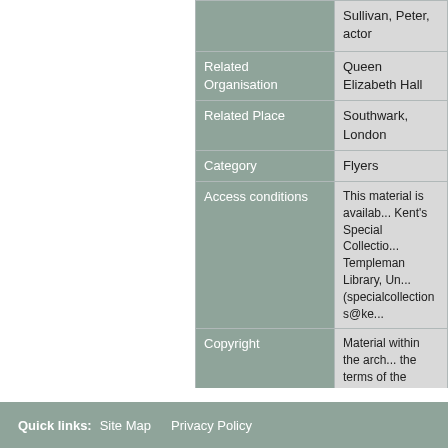| Field | Value |
| --- | --- |
|  | Sullivan, Peter, actor |
| Related Organisation | Queen Elizabeth Hall |
| Related Place | Southwark, London |
| Category | Flyers |
| Access conditions | This material is available at Kent's Special Collections, Templeman Library, Un... (specialcollections@ke... |
| Copyright | Material within the arch... the terms of the Copyri... Special Collections & A... helping trace copyright... responsibility of users t... holder for reproduction... research or private stu... |
| Level | Item |
Quick links:  Site Map  Privacy Policy